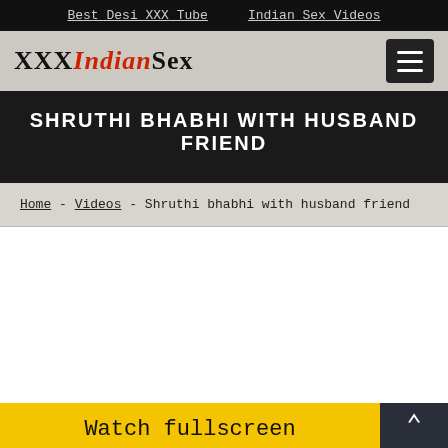Best Desi XXX Tube   Indian Sex Videos
XXXIndianSex
SHRUTHI BHABHI WITH HUSBAND FRIEND
Home - Videos - Shruthi bhabhi with husband friend
Watch fullscreen